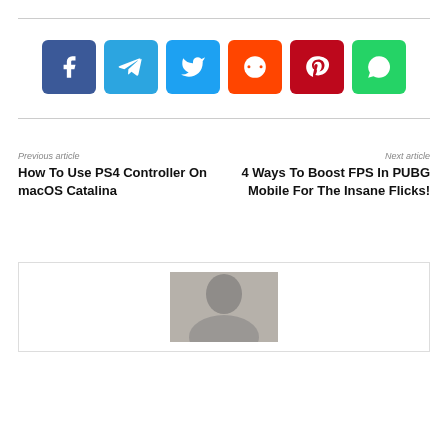[Figure (infographic): Social media share buttons: Facebook (dark blue), Telegram (light blue), Twitter (sky blue), Reddit (orange), Pinterest (red), WhatsApp (green)]
Previous article
How To Use PS4 Controller On macOS Catalina
Next article
4 Ways To Boost FPS In PUBG Mobile For The Insane Flicks!
[Figure (photo): Author photo: person with hand on head, partial view]